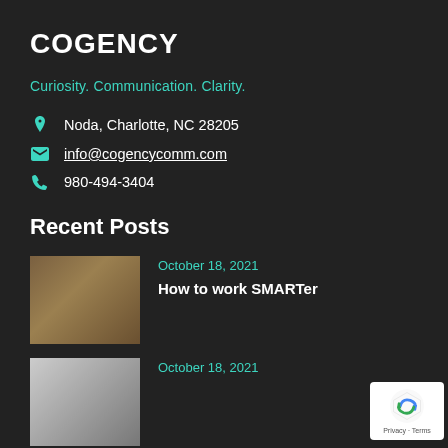COGENCY
Curiosity. Communication. Clarity.
Noda, Charlotte, NC 28205
info@cogencycomm.com
980-494-3404
Recent Posts
[Figure (photo): Thumbnail image of LEGO figures on a bicycle]
October 18, 2021
How to work SMARTer
[Figure (photo): Thumbnail image for second post]
October 18, 2021